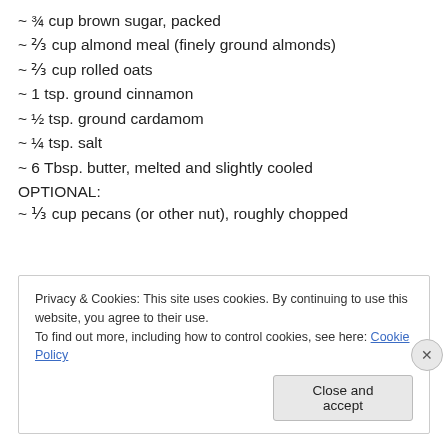~ ¾ cup brown sugar, packed
~ ⅔ cup almond meal (finely ground almonds)
~ ⅔ cup rolled oats
~ 1 tsp. ground cinnamon
~ ½ tsp. ground cardamom
~ ¼ tsp. salt
~ 6 Tbsp. butter, melted and slightly cooled
OPTIONAL:
~ ⅓ cup pecans (or other nut), roughly chopped
Privacy & Cookies: This site uses cookies. By continuing to use this website, you agree to their use.
To find out more, including how to control cookies, see here: Cookie Policy